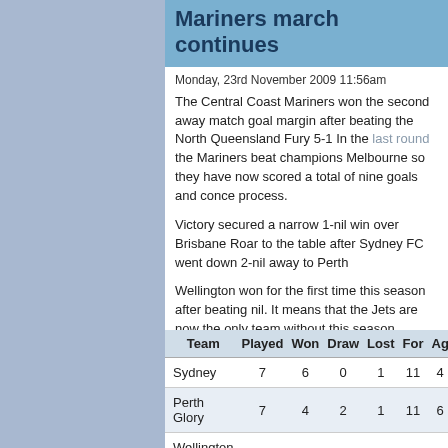Mariners march continues
Monday, 23rd November 2009 11:56am
The Central Coast Mariners won the second away match goal margin after beating the North Queensland Fury 5-1 In the last round the Mariners beat champions Melbourne so they have now scored a total of nine goals and conceded in the process.
Victory secured a narrow 1-nil win over Brisbane Roar to the table after Sydney FC went down 2-nil away to Perth
Wellington won for the first time this season after beating nil. It means that the Jets are now the only team without this season.
So in this week's post I will take a look at the home ladder so far and next week I will take a look at the away one.
| Team | Played | Won | Draw | Lost | For | Ag |
| --- | --- | --- | --- | --- | --- | --- |
| Sydney | 7 | 6 | 0 | 1 | 11 | 4 |
| Perth Glory | 7 | 4 | 2 | 1 | 11 | 6 |
| Wellington Phoenix | 7 | 3 | 4 | 0 | 14 | 4 |
| Gold Coast | 7 | 4 | 1 | 2 | 12 | 7 |